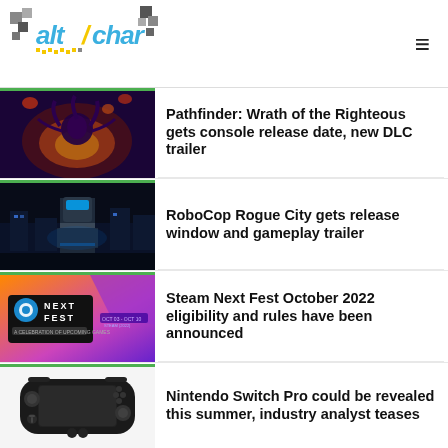AltChar
[Figure (screenshot): Pathfinder: Wrath of the Righteous game screenshot showing fantasy RPG scene with orange fire and dark atmosphere]
Pathfinder: Wrath of the Righteous gets console release date, new DLC trailer
[Figure (screenshot): RoboCop Rogue City game screenshot showing RoboCop in dark futuristic city environment]
RoboCop Rogue City gets release window and gameplay trailer
[Figure (screenshot): Steam Next Fest October 2022 promotional banner with purple and orange colors showing Next Fest logo]
Steam Next Fest October 2022 eligibility and rules have been announced
[Figure (photo): Nintendo Switch Pro handheld gaming device in black color against white background]
Nintendo Switch Pro could be revealed this summer, industry analyst teases